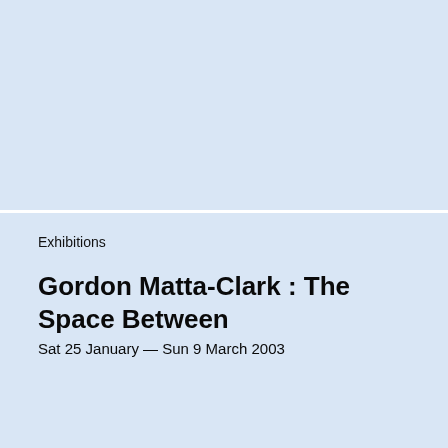[Figure (other): Large light blue rectangular area occupying the top half of the page, serving as an image placeholder or artwork display area.]
Exhibitions
Gordon Matta-Clark : The Space Between
Sat 25 January — Sun 9 March 2003